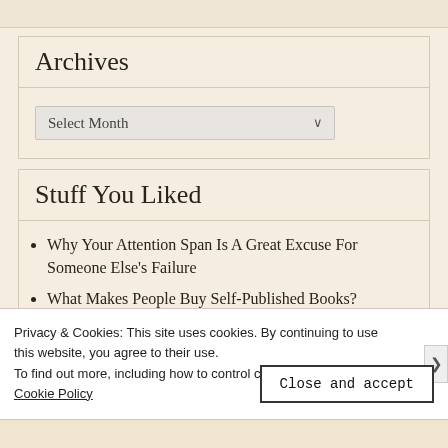Archives
Select Month
Stuff You Liked
Why Your Attention Span Is A Great Excuse For Someone Else's Failure
What Makes People Buy Self-Published Books?
Privacy & Cookies: This site uses cookies. By continuing to use this website, you agree to their use.
To find out more, including how to control cookies, see here: Cookie Policy
Close and accept